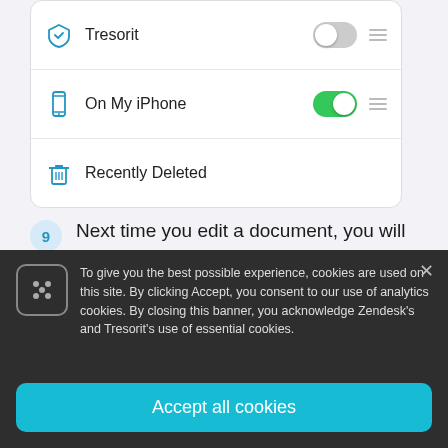[Figure (screenshot): iOS Files app location list showing Tresorit (toggle off), On My iPhone (toggle on, green), and Recently Deleted rows with icons]
9  Next time you edit a document, you will be able to save your changes directly to the cloud.
10  Select Tresorit from the list.
11  Choose a location.
[Figure (screenshot): Cookie consent banner overlay with dark background. Text: To give you the best possible experience, cookies are used on this site. By clicking Accept, you consent to our use of analytics cookies. By closing this banner, you acknowledge Zendesk's and Tresorit's use of essential cookies. Button: Accept all cookies.]